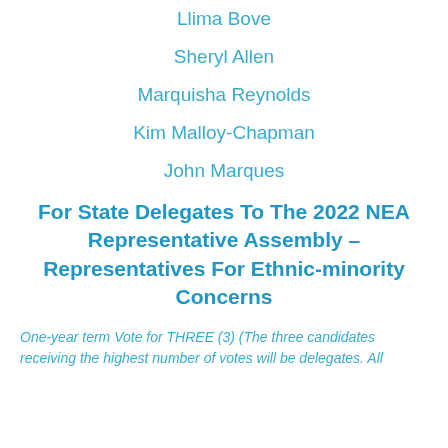Llima Bove
Sheryl Allen
Marquisha Reynolds
Kim Malloy-Chapman
John Marques
For State Delegates To The 2022 NEA Representative Assembly – Representatives For Ethnic-minority Concerns
One-year term Vote for THREE (3) (The three candidates receiving the highest number of votes will be delegates. All